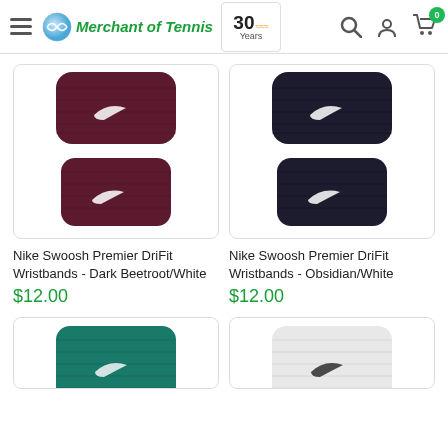[Figure (screenshot): Merchant of Tennis website header with hamburger menu, logo, 30 Years badge, search icon, profile icon, and cart icon with 0 badge]
[Figure (photo): Nike Swoosh Premier DriFit Wristbands in Dark Beetroot/White (pair of dark maroon wristbands with Nike swoosh logo)]
Nike Swoosh Premier DriFit Wristbands - Dark Beetroot/White
$12.00
[Figure (photo): Nike Swoosh Premier DriFit Wristbands in Obsidian/White (pair of black/dark navy wristbands with Nike swoosh logo)]
Nike Swoosh Premier DriFit Wristbands - Obsidian/White
$12.00
[Figure (photo): Partial view of Nike wristband in teal/green color]
[Figure (photo): Partial view of Nike wristband in white color]